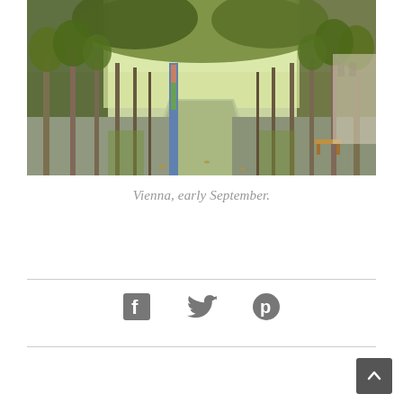[Figure (photo): A tree-lined pedestrian path in Vienna. Tall trees with green/yellow foliage line both sides of a wide stone-paved walkway. Colorful art pillars are visible, and a bench and building are on the right side.]
Vienna, early September.
[Figure (infographic): Social sharing icons: Facebook (f), Twitter (bird), Pinterest (p) arranged horizontally in gray color.]
[Figure (other): Back to top button — dark gray square with an upward chevron arrow in white, positioned bottom-right.]